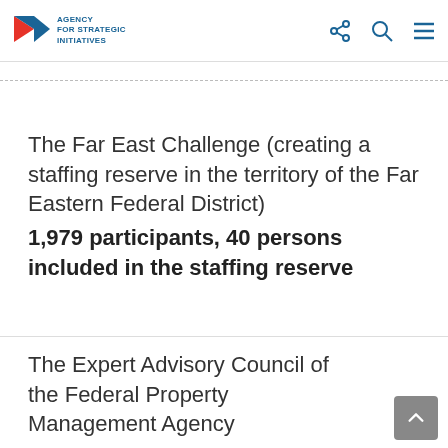Agency for Strategic Initiatives
The Far East Challenge (creating a staffing reserve in the territory of the Far Eastern Federal District)
1,979 participants, 40 persons included in the staffing reserve
The Expert Advisory Council of the Federal Property Management Agency